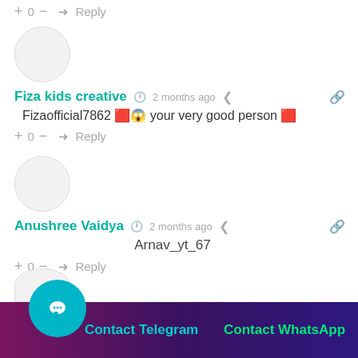+ 0 — ➜ Reply
[Figure (illustration): Circular user avatar placeholder (gray circle) for Fiza kids creative]
Fiza kids creative  🕐 2 months ago  ≪  🔗
Fizaofficial7862 🔳😱 your very good person 🔳
+ 0 — ➜ Reply
[Figure (illustration): Circular user avatar placeholder (gray circle) for Anushree Vaidya]
Anushree Vaidya  🕐 2 months ago  ≪  🔗
Arnav_yt_67
+ 0 — ➜ Reply
[Figure (illustration): Partial circular user avatar placeholder at bottom]
Contact Telegram
Contact WhatsApp